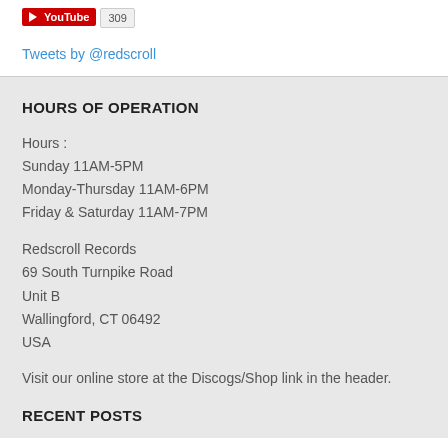[Figure (screenshot): YouTube subscribe button showing 309 subscribers]
Tweets by @redscroll
HOURS OF OPERATION
Hours :
Sunday 11AM-5PM
Monday-Thursday 11AM-6PM
Friday & Saturday 11AM-7PM
Redscroll Records
69 South Turnpike Road
Unit B
Wallingford, CT 06492
USA
Visit our online store at the Discogs/Shop link in the header.
RECENT POSTS